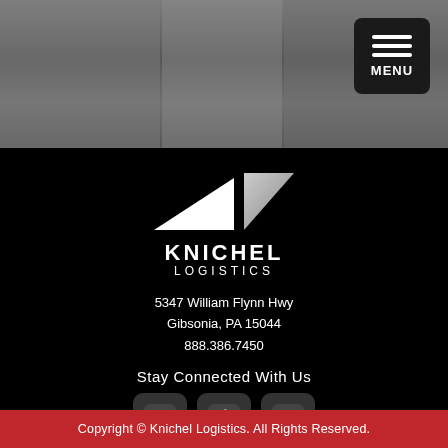[Figure (screenshot): Top gray header background area with darkened warehouse/truck photo and MENU button in top right corner]
[Figure (logo): Knichel Logistics logo: two triangular arrow shapes pointing left in white/gray, with KNICHEL LOGISTICS text below in white on black background]
5347 William Flynn Hwy
Gibsonia, PA 15044
888.386.7450
Stay Connected With Us
[Figure (infographic): Three social media icon buttons: Facebook (f), Twitter (bird), LinkedIn (in) — rounded square dark gray buttons]
Copyright © Knichel Logistics. All Rights Reserved.